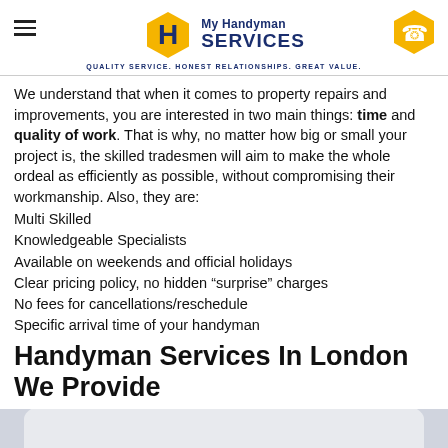My Handyman SERVICES — QUALITY SERVICE. HONEST RELATIONSHIPS. GREAT VALUE.
We understand that when it comes to property repairs and improvements, you are interested in two main things: time and quality of work. That is why, no matter how big or small your project is, the skilled tradesmen will aim to make the whole ordeal as efficiently as possible, without compromising their workmanship. Also, they are:
Multi Skilled
Knowledgeable Specialists
Available on weekends and official holidays
Clear pricing policy, no hidden “surprise” charges
No fees for cancellations/reschedule
Specific arrival time of your handyman
Handyman Services In London We Provide
[Figure (photo): A person wearing a brown jacket working on a white surface, visible from approximately chest level.]